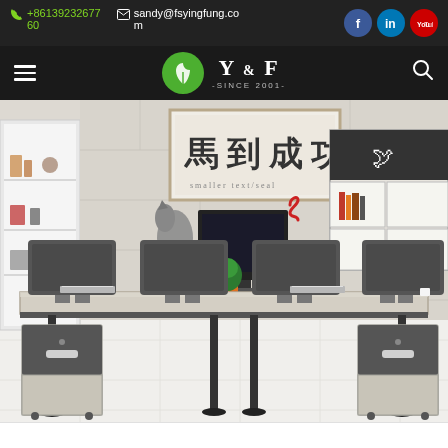+86139232677 60  sandy@fsyingfung.com
[Figure (logo): Y&F -SINCE 2001- company logo with green circle leaf icon, navigation bar with hamburger menu and search icon]
[Figure (photo): Office workstation with shared desk for 4 persons, dark grey privacy screens, light wood-tone desktop surface, black metal legs, mobile pedestals with drawers, bookshelf/storage unit in background, decorative horse head sculpture, green potted plant, calligraphy wall art reading 馬到成功, white tile floor, light stone wall]